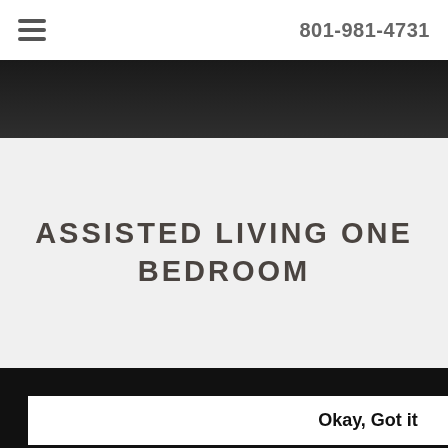801-981-4731
[Figure (photo): Dark header image bar at top of page]
ASSISTED LIVING ONE BEDROOM
This site uses cookies. See our Privacy Policy to learn more.
Okay, Got it